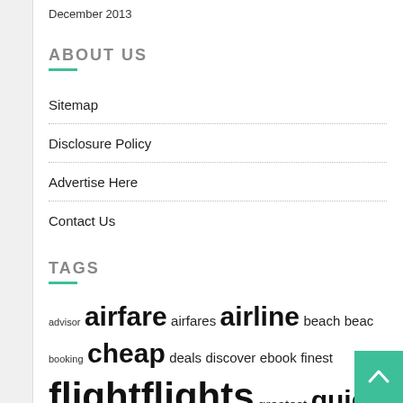December 2013
ABOUT US
Sitemap
Disclosure Policy
Advertise Here
Contact Us
TAGS
advisor airfare airfares airline beach beach booking cheap deals discover ebook finest flight flights greatest guide guides